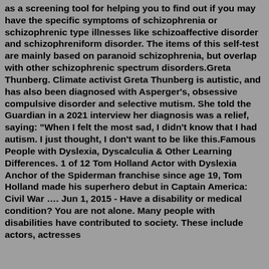as a screening tool for helping you to find out if you may have the specific symptoms of schizophrenia or schizophrenic type illnesses like schizoaffective disorder and schizophreniform disorder. The items of this self-test are mainly based on paranoid schizophrenia, but overlap with other schizophrenic spectrum disorders.Greta Thunberg. Climate activist Greta Thunberg is autistic, and has also been diagnosed with Asperger's, obsessive compulsive disorder and selective mutism. She told the Guardian in a 2021 interview her diagnosis was a relief, saying: "When I felt the most sad, I didn't know that I had autism. I just thought, I don't want to be like this.Famous People with Dyslexia, Dyscalculia & Other Learning Differences. 1 of 12 Tom Holland Actor with Dyslexia Anchor of the Spiderman franchise since age 19, Tom Holland made his superhero debut in Captain America: Civil War …. Jun 1, 2015 - Have a disability or medical condition? You are not alone. Many people with disabilities have contributed to society. These include actors, actresses